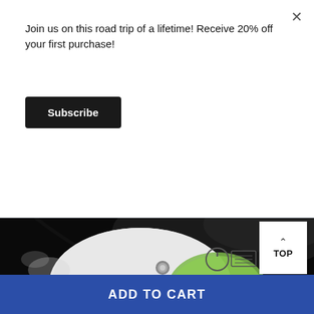Join us on this road trip of a lifetime! Receive 20% off your first purchase!
Subscribe
[Figure (photo): Close-up product photo of a white and green car humidifier/diffuser device in a dark car interior, with mist visible]
TOP
ADD TO CART